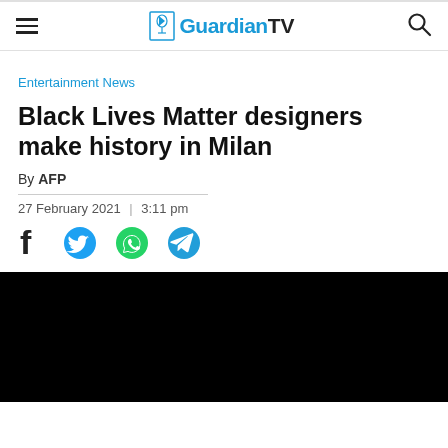GuardianTV
Entertainment News
Black Lives Matter designers make history in Milan
By AFP
27 February 2021  |  3:11 pm
[Figure (photo): Black image placeholder/video thumbnail]